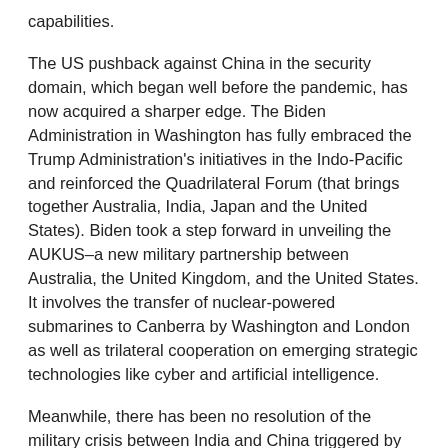capabilities.
The US pushback against China in the security domain, which began well before the pandemic, has now acquired a sharper edge. The Biden Administration in Washington has fully embraced the Trump Administration's initiatives in the Indo-Pacific and reinforced the Quadrilateral Forum (that brings together Australia, India, Japan and the United States). Biden took a step forward in unveiling the AUKUS–a new military partnership between Australia, the United Kingdom, and the United States. It involves the transfer of nuclear-powered submarines to Canberra by Washington and London as well as trilateral cooperation on emerging strategic technologies like cyber and artificial intelligence.
Meanwhile, there has been no resolution of the military crisis between India and China triggered by Beijing's aggression in the Ladakh region in the spring of 2020. The military friction between India and China in the high Himalayas boiled over into a deadly clash between the troops of the nations in June 2020—the first in many decades. Despite continuous engagement at the military, diplomatic and political levels, Delhi has been